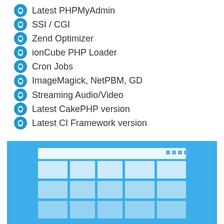Latest PHPMyAdmin
SSI / CGI
Zend Optimizer
ionCube PHP Loader
Cron Jobs
ImageMagick, NetPBM, GD
Streaming Audio/Video
Latest CakePHP version
Latest CI Framework version
[Figure (screenshot): A blue panel showing a browser window mockup with a grid/table layout inside, resembling a web application interface with rows and columns of content cells.]